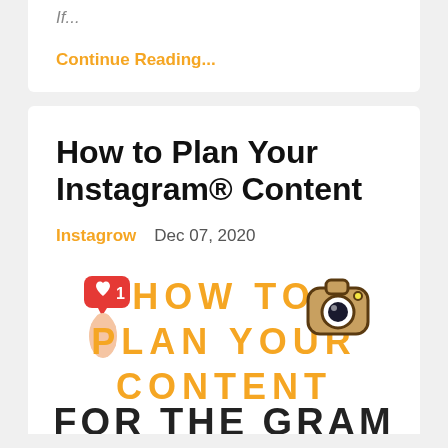If...
Continue Reading...
How to Plan Your Instagram® Content
Instagrow   Dec 07, 2020
[Figure (illustration): Promotional blog post image for 'How to Plan Your Instagram Content for the Gram' with a like/heart icon on the left, an Instagram camera icon on the upper right, and large orange bold text in the center reading HOW TO PLAN YOUR CONTENT FOR THE GRAM]